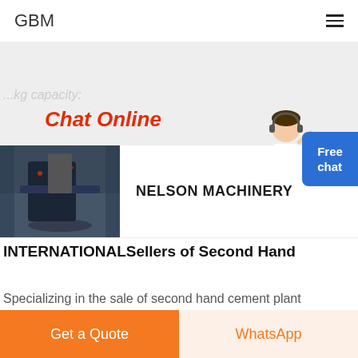GBM
...kg capacity:
Chat Online
[Figure (photo): Industrial machinery in a factory setting – dark heavy equipment]
NELSON MACHINERY
INTERNATIONALSellers of Second Hand
Specializing in the sale of second hand cement plant equipment and complete used cement plants. In addition to used and new surplus Cement Plant Equipment, we also...
Get a Quote
WhatsApp